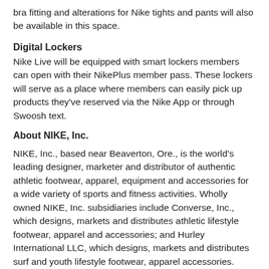bra fitting and alterations for Nike tights and pants will also be available in this space.
Digital Lockers
Nike Live will be equipped with smart lockers members can open with their NikePlus member pass. These lockers will serve as a place where members can easily pick up products they've reserved via the Nike App or through Swoosh text.
About NIKE, Inc.
NIKE, Inc., based near Beaverton, Ore., is the world's leading designer, marketer and distributor of authentic athletic footwear, apparel, equipment and accessories for a wide variety of sports and fitness activities. Wholly owned NIKE, Inc. subsidiaries include Converse, Inc., which designs, markets and distributes athletic lifestyle footwear, apparel and accessories; and Hurley International LLC, which designs, markets and distributes surf and youth lifestyle footwear, apparel accessories.
For more information please visit www.nike.com